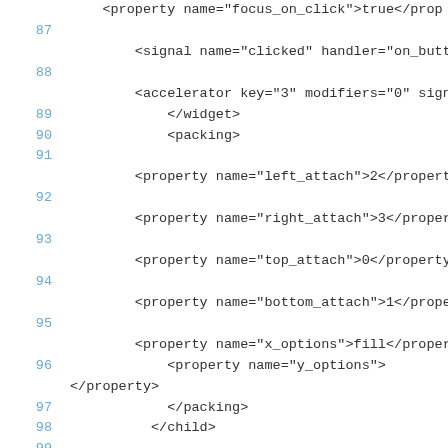code snippet showing XML/Glade UI definition lines 87-101
<property name="focus_on_click">true</property>
87   <signal name="clicked" handler="on_button3
88   <accelerator key="3" modifiers="0" signal=
89       </widget>
90       <packing>
91   <property name="left_attach">2</property>
92   <property name="right_attach">3</property>
93   <property name="top_attach">0</property>
94   <property name="bottom_attach">1</property>
95   <property name="x_options">fill</property>
96       <property name="y_options">
</property>
97       </packing>
98     </child>
99
100     <child>
101
<widget class="GtkButton" id="button4">